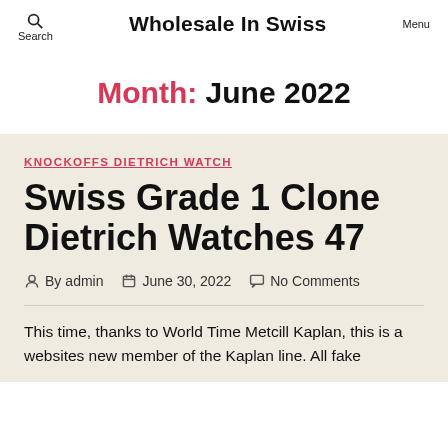Search | Wholesale In Swiss | Menu
Month: June 2022
KNOCKOFFS DIETRICH WATCH
Swiss Grade 1 Clone Dietrich Watches 47
By admin  June 30, 2022  No Comments
This time, thanks to World Time Metcill Kaplan, this is a websites new member of the Kaplan line. All fake